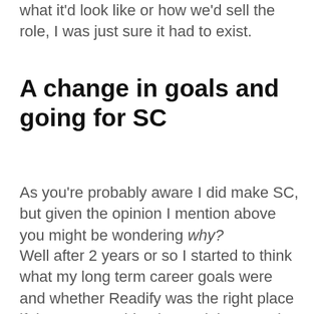what it'd look like or how we'd sell the role, I was just sure it had to exist.
A change in goals and going for SC
As you're probably aware I did make SC, but given the opinion I mention above you might be wondering why?
Well after 2 years or so I started to think what my long term career goals were and whether Readify was the right place if there was nothing beyond the SD role for me there. This got me thinking about what was keeping me at